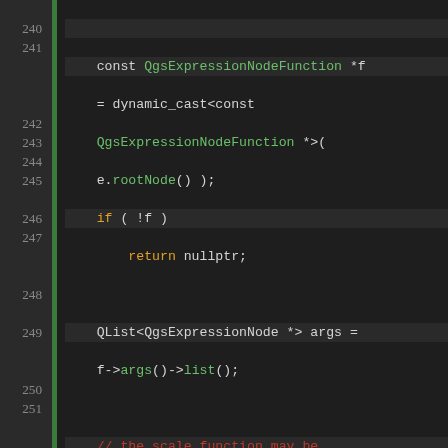[Figure (screenshot): Source code viewer showing C++ code lines 240–260, with line numbers on the left, a green gutter bar, and syntax-highlighted code on a dark background. Keywords in orange, types/methods in green, comments in red, strings in orange, default text in light gray.]